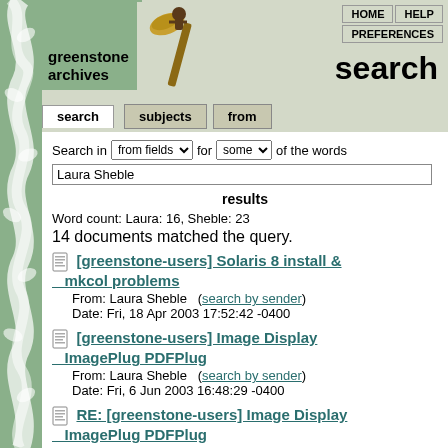[Figure (illustration): Green decorative vine/wave pattern on left sidebar]
[Figure (photo): Greenstone archives logo box with artifact image (hammer-like tool)]
HOME  HELP  PREFERENCES
search
greenstone archives
search
subjects
from
Search in [from fields] for [some] of the words
Laura Sheble
results
Word count: Laura: 16, Sheble: 23
14 documents matched the query.
[greenstone-users] Solaris 8 install & mkcol problems
From: Laura Sheble  (search by sender)
Date: Fri, 18 Apr 2003 17:52:42 -0400
[greenstone-users] Image Display ImagePlug PDFPlug
From: Laura Sheble  (search by sender)
Date: Fri, 6 Jun 2003 16:48:29 -0400
RE: [greenstone-users] Image Display ImagePlug PDFPlug